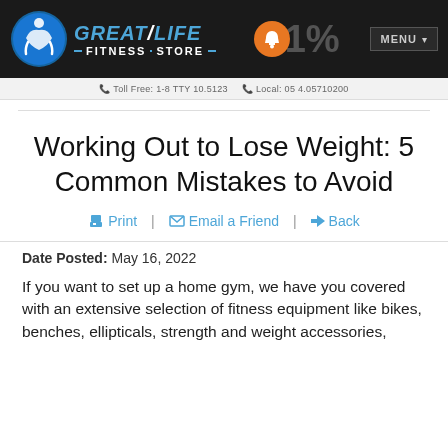[Figure (logo): Great Life Fitness Store logo with blue circle icon, blue italic text GREAT/LIFE and white FITNESS STORE text on black header bar]
Toll Free: 1-8 TTY 10.5123   Local: 05 4.05710200
Working Out to Lose Weight: 5 Common Mistakes to Avoid
Print | Email a Friend | Back
Date Posted: May 16, 2022
If you want to set up a home gym, we have you covered with an extensive selection of fitness equipment like bikes, benches, ellipticals, strength and weight accessories,